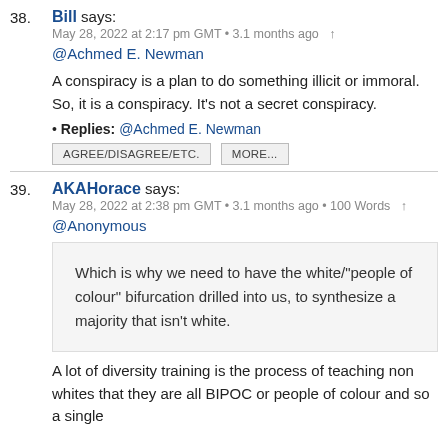38. Bill says:
May 28, 2022 at 2:17 pm GMT • 3.1 months ago
@Achmed E. Newman
A conspiracy is a plan to do something illicit or immoral. So, it is a conspiracy. It's not a secret conspiracy.
• Replies: @Achmed E. Newman
AGREE/DISAGREE/ETC.   MORE...
39. AKAHorace says:
May 28, 2022 at 2:38 pm GMT • 3.1 months ago • 100 Words
@Anonymous
Which is why we need to have the white/"people of colour" bifurcation drilled into us, to synthesize a majority that isn't white.
A lot of diversity training is the process of teaching non whites that they are all BIPOC or people of colour and so a single